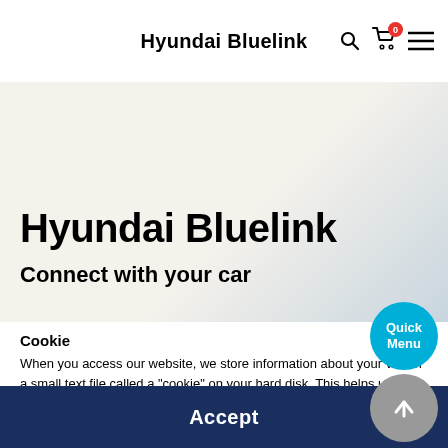Hyundai Bluelink
Hyundai Bluelink
Connect with your car
Cookie
When you access our website, we store information about your visit in a small text file called a "cookie" on your hard disk. This helps us to identify you and remember your preferences the next time you visit us.
Only information that you have provided will be stored in the cookie, and only the website which created the cookie can read it. This does not allow it access to the rest of the computer.
You can configure your Internet browser not to accept cookies, or to alert you every time a cookie is offered, letting you decide whether or not to accept it. However, some features of our website may not be available if you prevent the use of cookies.
Accept
Quick Menu
Close